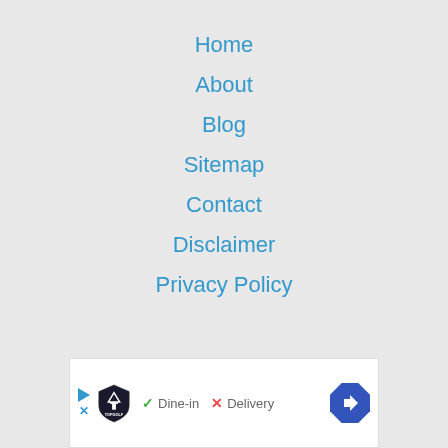Home
About
Blog
Sitemap
Contact
Disclaimer
Privacy Policy
[Figure (other): TopGolf advertisement banner showing Dine-in with checkmark and Delivery with X mark, with a blue direction arrow icon on right]